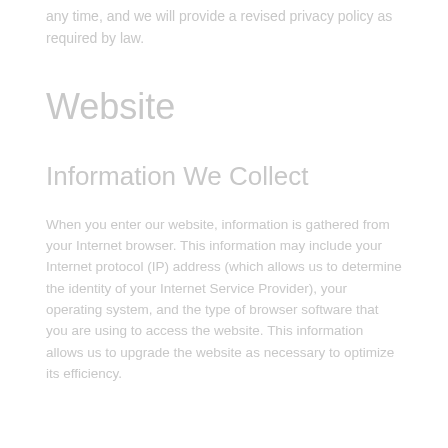any time, and we will provide a revised privacy policy as required by law.
Website
Information We Collect
When you enter our website, information is gathered from your Internet browser. This information may include your Internet protocol (IP) address (which allows us to determine the identity of your Internet Service Provider), your operating system, and the type of browser software that you are using to access the website. This information allows us to upgrade the website as necessary to optimize its efficiency.